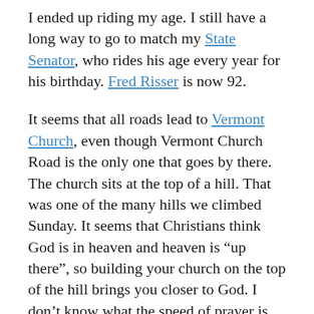I ended up riding my age. I still have a long way to go to match my State Senator, who rides his age every year for his birthday. Fred Risser is now 92.
It seems that all roads lead to Vermont Church, even though Vermont Church Road is the only one that goes by there. The church sits at the top of a hill. That was one of the many hills we climbed Sunday. It seems that Christians think God is in heaven and heaven is “up there”, so building your church on the top of the hill brings you closer to God. I don’t know what the speed of prayer is, but it seems the difference between a hill and a valley wouldn’t affect transit times all that much.